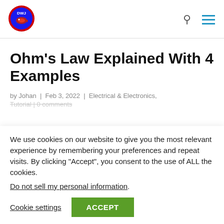[Figure (logo): DWJ logo — circular badge with red border, blue background, and stylized fish/text design]
Ohm’s Law Explained With 4 Examples
by Johan | Feb 3, 2022 | Electrical & Electronics,
Tutorial | 0 comments
We use cookies on our website to give you the most relevant experience by remembering your preferences and repeat visits. By clicking “Accept”, you consent to the use of ALL the cookies.
Do not sell my personal information.
Cookie settings  ACCEPT